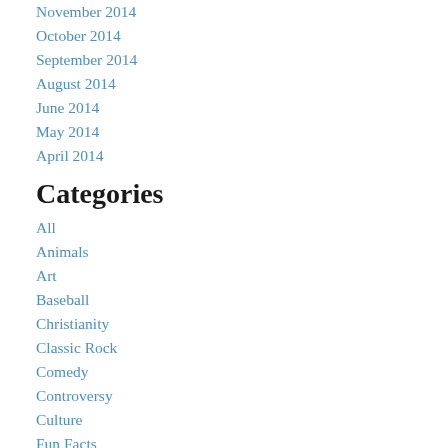November 2014
October 2014
September 2014
August 2014
June 2014
May 2014
April 2014
Categories
All
Animals
Art
Baseball
Christianity
Classic Rock
Comedy
Controversy
Culture
Fun Facts
Gaming
History